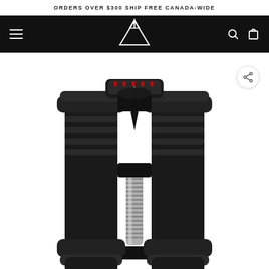ORDERS OVER $300 SHIP FREE CANADA-WIDE
[Figure (logo): Mountain peak triangle logo in white on black navbar background]
[Figure (photo): Close-up front view of an adjustable dumbbell with black weight plates and a chrome handle, with a red weight selector dial at the top]